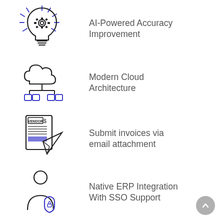[Figure (illustration): AI brain/lightbulb icon with gear and rays, outline style]
AI-Powered Accuracy Improvement
[Figure (illustration): Cloud architecture icon with cloud connected to four blue outline boxes]
Modern Cloud Architecture
[Figure (illustration): Vendor invoice document with dollar sign and paper airplane icon]
Submit invoices via email attachment
[Figure (illustration): Person with blue shield/lock security icon]
Native ERP Integration With SSO Support